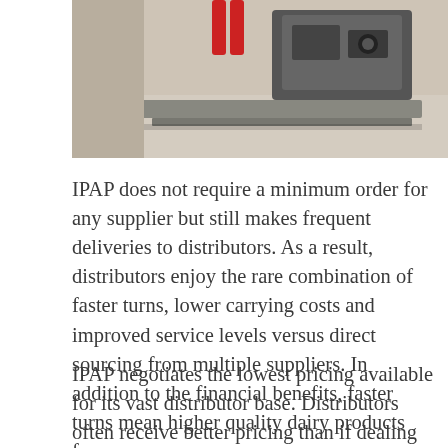[Figure (photo): Partial image of an industrial pallet jack or warehouse equipment on a concrete floor, showing mechanical components including what appears to be a pump or motor unit with red handles.]
IPAP does not require a minimum order for any supplier but still makes frequent deliveries to distributors. As a result, distributors enjoy the rare combination of faster turns, lower carrying costs and improved service levels versus direct sourcing from multiple suppliers. In addition to the financial benefits, faster turns mean higher quality dairy products for consumers.
IPAP negotiates the lowest pricing available for its vast distributor base. Distributors often receive better pricing than if dealing directly with a dairy supplier. While high-volume